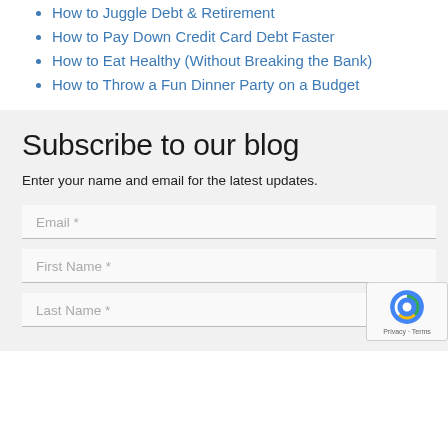How to Juggle Debt & Retirement
How to Pay Down Credit Card Debt Faster
How to Eat Healthy (Without Breaking the Bank)
How to Throw a Fun Dinner Party on a Budget
Subscribe to our blog
Enter your name and email for the latest updates.
Email *
First Name *
Last Name *